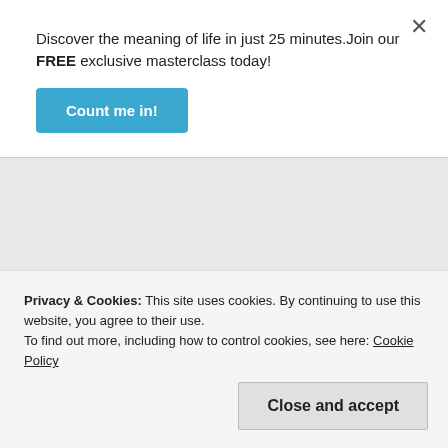Discover the meaning of life in just 25 minutes.Join our FREE exclusive masterclass today!
Count me in!
Leave a Reply
Your email address will not be published. Required fields are marked *
Comment *
Name *
Privacy & Cookies: This site uses cookies. By continuing to use this website, you agree to their use.
To find out more, including how to control cookies, see here: Cookie Policy
Close and accept